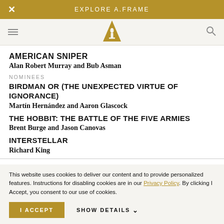EXPLORE A.FRAME
[Figure (logo): Oscars gold triangle logo with statuette silhouette]
AMERICAN SNIPER
Alan Robert Murray and Bub Asman
NOMINEES
BIRDMAN OR (THE UNEXPECTED VIRTUE OF IGNORANCE)
Martín Hernández and Aaron Glascock
THE HOBBIT: THE BATTLE OF THE FIVE ARMIES
Brent Burge and Jason Canovas
INTERSTELLAR
Richard King
This website uses cookies to deliver our content and to provide personalized features. Instructions for disabling cookies are in our Privacy Policy. By clicking I Accept, you consent to our use of cookies.
I ACCEPT
SHOW DETAILS